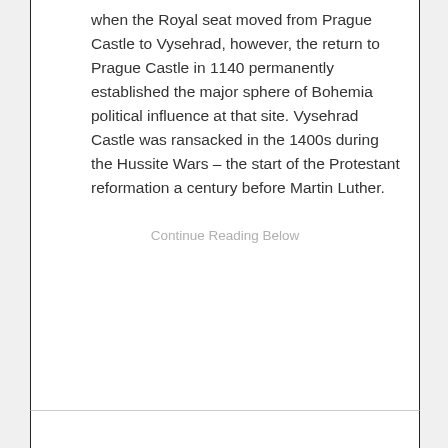when the Royal seat moved from Prague Castle to Vysehrad, however, the return to Prague Castle in 1140 permanently established the major sphere of Bohemia political influence at that site. Vysehrad Castle was ransacked in the 1400s during the Hussite Wars – the start of the Protestant reformation a century before Martin Luther.
Continue Reading Below